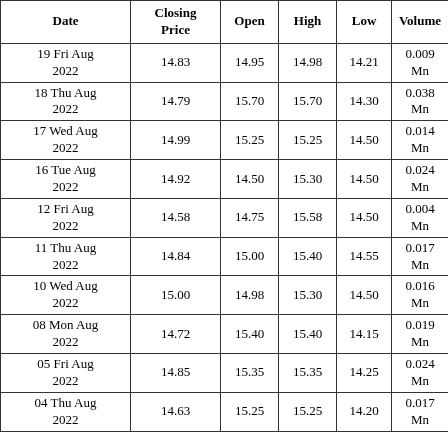| Date | Closing Price | Open | High | Low | Volume |
| --- | --- | --- | --- | --- | --- |
| 19 Fri Aug 2022 | 14.83 | 14.95 | 14.98 | 14.21 | 0.009 Mn |
| 18 Thu Aug 2022 | 14.79 | 15.70 | 15.70 | 14.30 | 0.038 Mn |
| 17 Wed Aug 2022 | 14.99 | 15.25 | 15.25 | 14.50 | 0.014 Mn |
| 16 Tue Aug 2022 | 14.92 | 14.50 | 15.30 | 14.50 | 0.024 Mn |
| 12 Fri Aug 2022 | 14.58 | 14.75 | 15.58 | 14.50 | 0.004 Mn |
| 11 Thu Aug 2022 | 14.84 | 15.00 | 15.40 | 14.55 | 0.017 Mn |
| 10 Wed Aug 2022 | 15.00 | 14.98 | 15.30 | 14.50 | 0.016 Mn |
| 08 Mon Aug 2022 | 14.72 | 15.40 | 15.40 | 14.15 | 0.019 Mn |
| 05 Fri Aug 2022 | 14.85 | 15.35 | 15.35 | 14.25 | 0.024 Mn |
| 04 Thu Aug 2022 | 14.63 | 15.25 | 15.25 | 14.20 | 0.017 Mn |